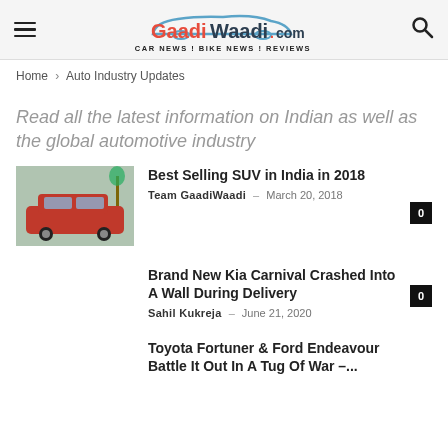GaadiWaadi.com — CAR NEWS ! BIKE NEWS ! REVIEWS
Home › Auto Industry Updates
Read all the latest information on Indian as well as the global automotive industry
Best Selling SUV in India in 2018 — Team GaadiWaadi – March 20, 2018
Brand New Kia Carnival Crashed Into A Wall During Delivery — Sahil Kukreja – June 21, 2020
Toyota Fortuner & Ford Endeavour Battle It Out In A Tug Of War –...